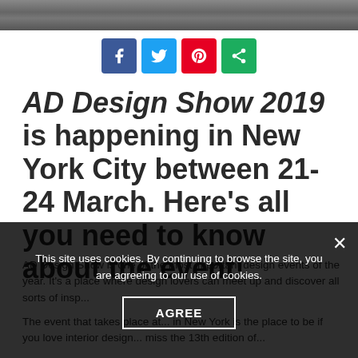[Figure (photo): Top strip showing a crowd of people at what appears to be a design event]
[Figure (infographic): Social sharing buttons: Facebook (blue), Twitter (light blue), Pinterest (red), share (green)]
AD Design Show 2019 is happening in New York City between 21-24 March. Here's all you need to know about the event!
AD Design Show is one of the most important design events of the year. It's a place where design lovers can meet up and discover all sorts of insp...
The event that takes place at... in New York is the place to be if you love interior design... miss the 13th edition of...
This site uses cookies. By continuing to browse the site, you are agreeing to our use of cookies.